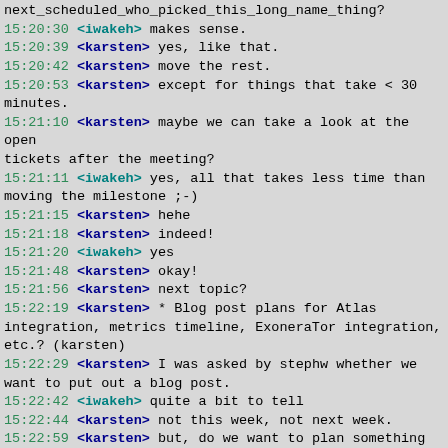next_scheduled_who_picked_this_long_name_thing?
15:20:30 <iwakeh> makes sense.
15:20:39 <karsten> yes, like that.
15:20:42 <karsten> move the rest.
15:20:53 <karsten> except for things that take < 30 minutes.
15:21:10 <karsten> maybe we can take a look at the open tickets after the meeting?
15:21:11 <iwakeh> yes, all that takes less time than moving the milestone ;-)
15:21:15 <karsten> hehe
15:21:18 <karsten> indeed!
15:21:20 <iwakeh> yes
15:21:48 <karsten> okay!
15:21:56 <karsten> next topic?
15:22:19 <karsten> * Blog post plans for Atlas integration, metrics timeline, ExoneraTor integration, etc.? (karsten)
15:22:29 <karsten> I was asked by stephw whether we want to put out a blog post.
15:22:42 <iwakeh> quite a bit to tell
15:22:44 <karsten> not this week, not next week.
15:22:59 <karsten> but, do we want to plan something like that?
15:23:13 <irl_work> i nearly wrote a blog post about relay search
15:23:19 <irl_work> then i didn't
15:23:24 <karsten> plus maybe metrics-bot.
15:23:50 <karsten> should I tell her we're interested?
15:24:13 <irl_work> yes, but more in a before 2018 way than in a this week way.